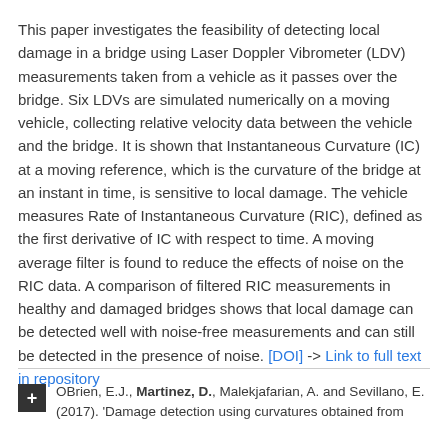This paper investigates the feasibility of detecting local damage in a bridge using Laser Doppler Vibrometer (LDV) measurements taken from a vehicle as it passes over the bridge. Six LDVs are simulated numerically on a moving vehicle, collecting relative velocity data between the vehicle and the bridge. It is shown that Instantaneous Curvature (IC) at a moving reference, which is the curvature of the bridge at an instant in time, is sensitive to local damage. The vehicle measures Rate of Instantaneous Curvature (RIC), defined as the first derivative of IC with respect to time. A moving average filter is found to reduce the effects of noise on the RIC data. A comparison of filtered RIC measurements in healthy and damaged bridges shows that local damage can be detected well with noise-free measurements and can still be detected in the presence of noise. [DOI] -> Link to full text in repository
OBrien, E.J., Martinez, D., Malekjafarian, A. and Sevillano, E. (2017). 'Damage detection using curvatures obtained from